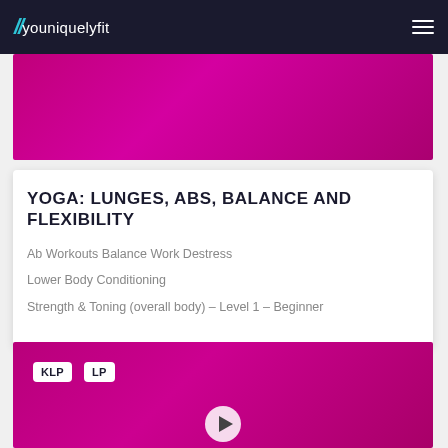youniquelyfit
[Figure (photo): Magenta/purple gradient background image (top video thumbnail)]
YOGA: LUNGES, ABS, BALANCE AND FLEXIBILITY
Ab Workouts Balance Work Destress
Lower Body Conditioning
Strength & Toning (overall body) – Level 1 – Beginner
[Figure (photo): Magenta/purple gradient background image (bottom video thumbnail) with KLP and LP badges and a play button]